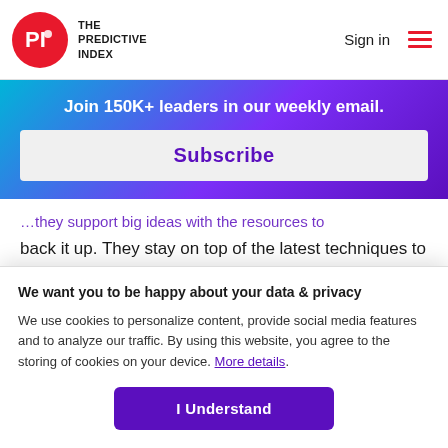THE PREDICTIVE INDEX | Sign in
Join 150K+ leaders in our weekly email.
Subscribe
back it up. They stay on top of the latest techniques to identify talent, develop their people, and ensure alignment from the mail room to the board room.
We want you to be happy about your data & privacy
We use cookies to personalize content, provide social media features and to analyze our traffic. By using this website, you agree to the storing of cookies on your device. More details.
I Understand